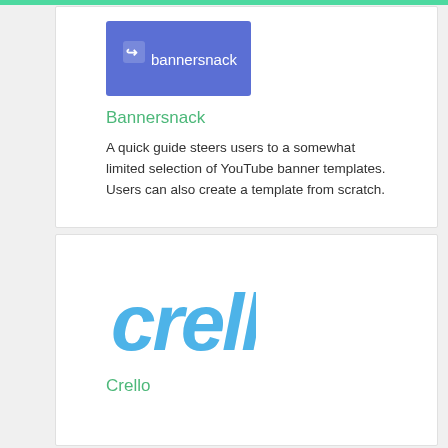[Figure (logo): Bannersnack logo — white icon and text on a blue/purple rectangle background]
Bannersnack
A quick guide steers users to a somewhat limited selection of YouTube banner templates. Users can also create a template from scratch.
[Figure (logo): Crello logo — blue stylized brush-stroke lettering spelling 'crello']
Crello